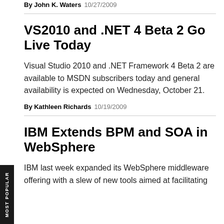By John K. Waters 10/27/2009
VS2010 and .NET 4 Beta 2 Go Live Today
Visual Studio 2010 and .NET Framework 4 Beta 2 are available to MSDN subscribers today and general availability is expected on Wednesday, October 21.
By Kathleen Richards 10/19/2009
IBM Extends BPM and SOA in WebSphere
IBM last week expanded its WebSphere middleware offering with a slew of new tools aimed at facilitating